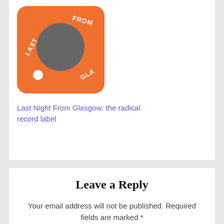[Figure (logo): Orange circular logo with grey circle in center and white text reading 'LAST NIGHT FROM GLASGOW' around the edge]
Last Night From Glasgow: the radical record label
Leave a Reply
Your email address will not be published. Required fields are marked *
Comment